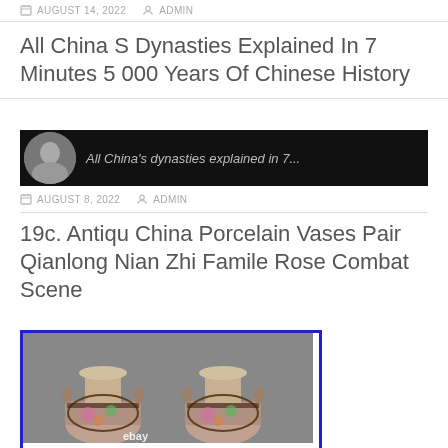AUGUST 14, 2022   ADMIN
All China S Dynasties Explained In 7 Minutes 5 000 Years Of Chinese History
[Figure (screenshot): Black thumbnail bar with small circular portrait photo and italic text 'All China's dynasties explained in 7...']
AUGUST 8, 2022   ADMIN
19c. Antiqu China Porcelain Vases Pair Qianlong Nian Zhi Famile Rose Combat Scene
[Figure (photo): Photo of two ornate Chinese porcelain vases with floral and combat scene decoration, ebay watermark at bottom]